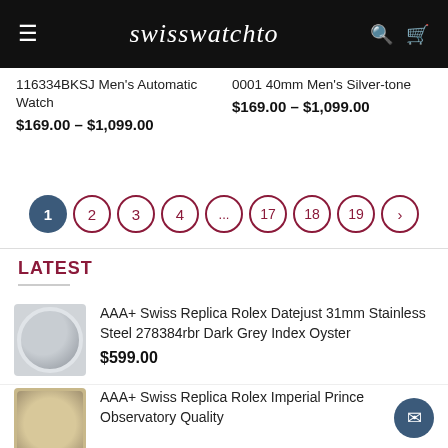swisswatchto
116334BKSJ Men's Automatic Watch $169.00 – $1,099.00
0001 40mm Men's Silver-tone $169.00 – $1,099.00
Pagination: 1 2 3 4 ... 17 18 19 >
LATEST
AAA+ Swiss Replica Rolex Datejust 31mm Stainless Steel 278384rbr Dark Grey Index Oyster $599.00
AAA+ Swiss Replica Rolex Imperial Prince Observatory Quality